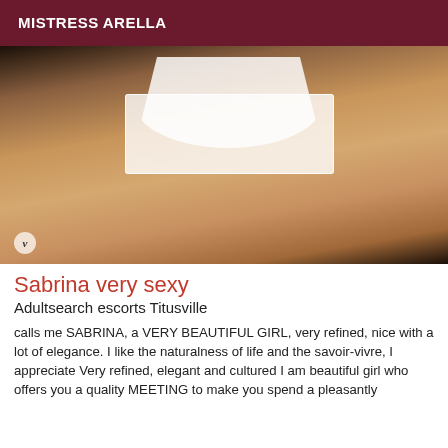MISTRESS ARELLA
[Figure (photo): Photo of a blonde woman from behind wearing white lace lingerie, warm skin tones, dark background with a small V watermark in bottom left corner.]
Sabrina very sexy
Adultsearch escorts Titusville
calls me SABRINA, a VERY BEAUTIFUL GIRL, very refined, nice with a lot of elegance. I like the naturalness of life and the savoir-vivre, I appreciate Very refined, elegant and cultured I am beautiful girl who offers you a quality MEETING to make you spend a pleasantly